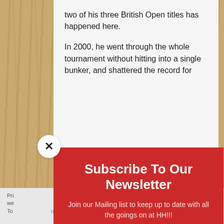two of his three British Open titles has happened here.
In 2000, he went through the whole tournament without hitting into a single bunker, and shattered the record for
Subscribe To Our Newsletter
Join our Mailing list to keep up to date with all the goings on at HH!!!
Email
SUBSCRIBE!
Pri... we... To ... olicy ... pt